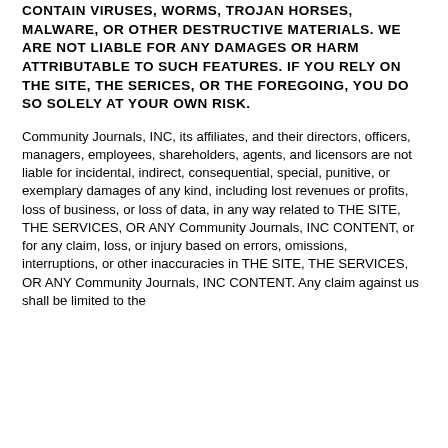CONTAIN VIRUSES, WORMS, TROJAN HORSES, MALWARE, OR OTHER DESTRUCTIVE MATERIALS. WE ARE NOT LIABLE FOR ANY DAMAGES OR HARM ATTRIBUTABLE TO SUCH FEATURES. IF YOU RELY ON THE SITE, THE SERICES, OR THE FOREGOING, YOU DO SO SOLELY AT YOUR OWN RISK.
Community Journals, INC, its affiliates, and their directors, officers, managers, employees, shareholders, agents, and licensors are not liable for incidental, indirect, consequential, special, punitive, or exemplary damages of any kind, including lost revenues or profits, loss of business, or loss of data, in any way related to THE SITE, THE SERVICES, OR ANY Community Journals, INC CONTENT, or for any claim, loss, or injury based on errors, omissions, interruptions, or other inaccuracies in THE SITE, THE SERVICES, OR ANY Community Journals, INC CONTENT. Any claim against us shall be limited to the